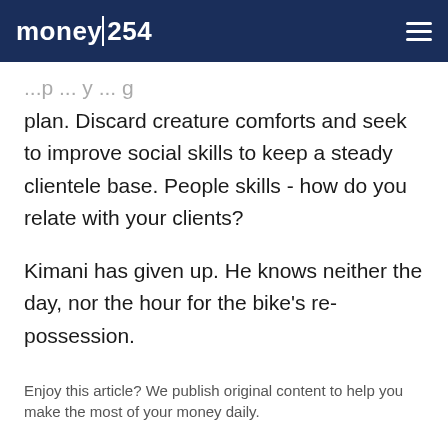money|254
plan. Discard creature comforts and seek to improve social skills to keep a steady clientele base. People skills - how do you relate with your clients?
Kimani has given up. He knows neither the day, nor the hour for the bike's re-possession.
Enjoy this article? We publish original content to help you make the most of your money daily.